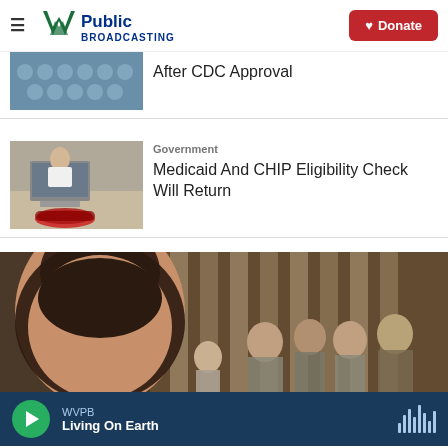WVPB Public Broadcasting | Donate
After CDC Approval
Government
Medicaid And CHIP Eligibility Check Will Return
[Figure (photo): Group of people in formal attire in a grand hallway, promotional image]
WVPB
Living On Earth